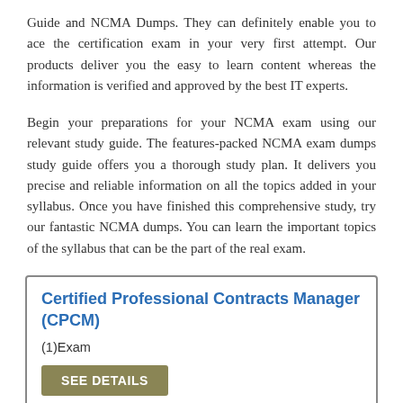Guide and NCMA Dumps. They can definitely enable you to ace the certification exam in your very first attempt. Our products deliver you the easy to learn content whereas the information is verified and approved by the best IT experts.
Begin your preparations for your NCMA exam using our relevant study guide. The features-packed NCMA exam dumps study guide offers you a thorough study plan. It delivers you precise and reliable information on all the topics added in your syllabus. Once you have finished this comprehensive study, try our fantastic NCMA dumps. You can learn the important topics of the syllabus that can be the part of the real exam.
Certified Professional Contracts Manager (CPCM)
(1)Exam
SEE DETAILS